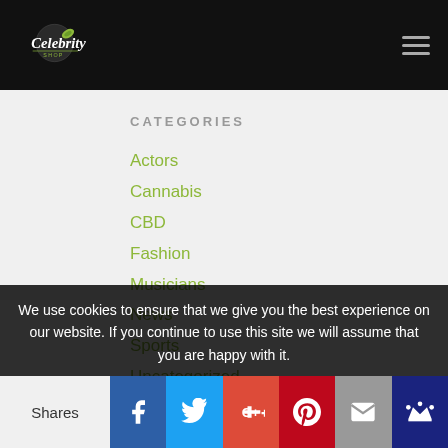[Figure (logo): Celebrity logo in white italic script on black header bar]
CATEGORIES
Actors
Cannabis
CBD
Fashion
Musicians
News
Sports
Uncategorized
We use cookies to ensure that we give you the best experience on our website. If you continue to use this site we will assume that you are happy with it.
Shares